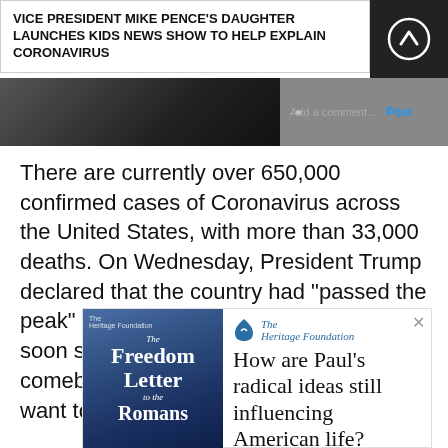VICE PRESIDENT MIKE PENCE'S DAUGHTER LAUNCHES KIDS NEWS SHOW TO HELP EXPLAIN CORONAVIRUS
[Figure (photo): Partial screenshot of a video thumbnail, dark image, with navigation dots and a comment input field with Post button]
There are currently over 650,000 confirmed cases of Coronavirus across the United States, with more than 33,000 deaths. On Wednesday, President Trump declared that the country had "passed the peak" of cases, and that states would soon start reopening. "We'll be the comeback kids, all of us," he said. "We want to get our country back."
[Figure (screenshot): Heritage Foundation advertisement featuring 'The Freedom Letter to the Romans' book, with text 'How are Paul's radical ideas still influencing American life?']